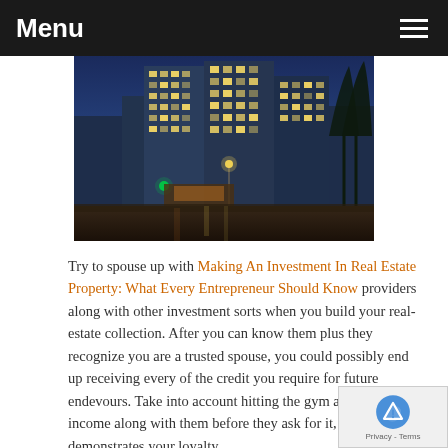Menu
[Figure (photo): Nighttime cityscape showing tall commercial skyscrapers lit up at dusk with blue sky and street-level lights, urban real estate setting]
Try to spouse up with Making An Investment In Real Estate Property: What Every Entrepreneur Should Know providers along with other investment sorts when you build your real-estate collection. After you can know them plus they recognize you are a trusted spouse, you could possibly end up receiving every of the credit you require for future endevours. Take into account hitting the gym a portion of income along with them before they ask for it, because it demonstrates your loyalty.